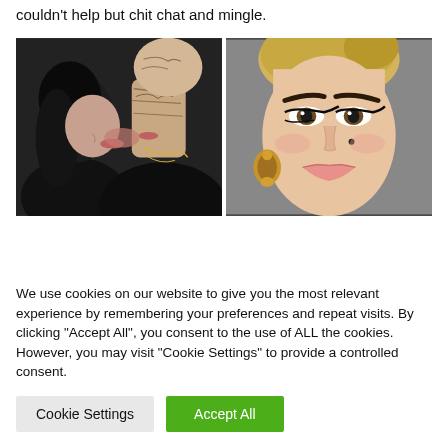couldn't help but chit chat and mingle.
[Figure (photo): Two side-by-side celebrity photos: left shows a couple kissing on a red carpet (tattooed man and dark-haired woman, both in black), right shows a close-up of a blonde woman with dramatic makeup and ornate earrings.]
We use cookies on our website to give you the most relevant experience by remembering your preferences and repeat visits. By clicking "Accept All", you consent to the use of ALL the cookies. However, you may visit "Cookie Settings" to provide a controlled consent.